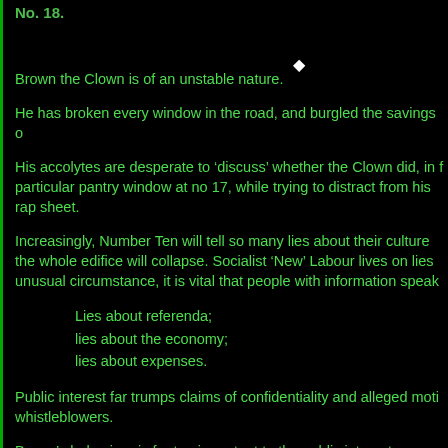No. 18.
Brown the Clown is of an unstable nature.
He has broken every window in the road, and burgled the savings o
His accolytes are desperate to ‘discuss’ whether the Clown did, in f particular pantry window at no 17, while trying to distract from his rap sheet.
Increasingly, Number Ten will tell so many lies about their culture the whole edifice will collapse. Socialist ‘New’ Labour lives on lies unusual circumstance, it is vital that people with information speak
Lies about referenda;
lies about the economy;
lies about expenses.
Public interest far trumps claims of confidentiality and alleged moti whistleblowers.
Brown’s behaviour is far too important to the public interest.